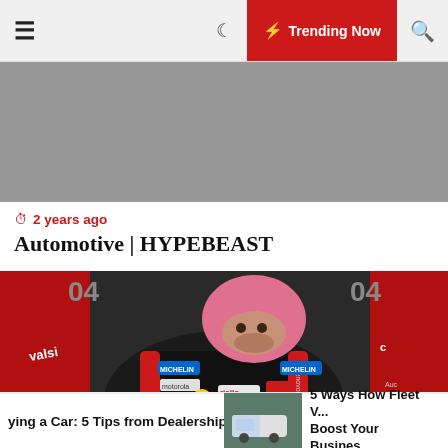Trending Now
[Figure (photo): Grey placeholder hero image area]
2 years ago
Automotive | HYPEBEAST
[Figure (photo): MotoGP rider in red and black Ducati racing leathers with pink helmet, sitting with hands clasped, wearing Michelin, motorola, Riello, Valsir, Suomy, Ducati, Lenovo sponsor patches]
ying a Car: 5 Tips from Dealerships | 5 Ways How Fleet V... Boost Your Busines...